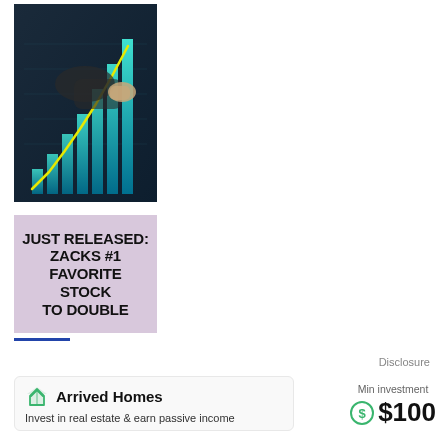[Figure (photo): Person in suit pointing at rising bar chart with glowing teal bars and a yellow upward trend line on a dark background]
[Figure (illustration): Purple/lavender advertisement banner with bold black text reading: JUST RELEASED: ZACKS #1 FAVORITE STOCK TO DOUBLE]
Disclosure
[Figure (logo): Arrived Homes logo — green diamond/chevron icon with company name 'Arrived Homes' in bold]
Invest in real estate & earn passive income
Min investment
$100